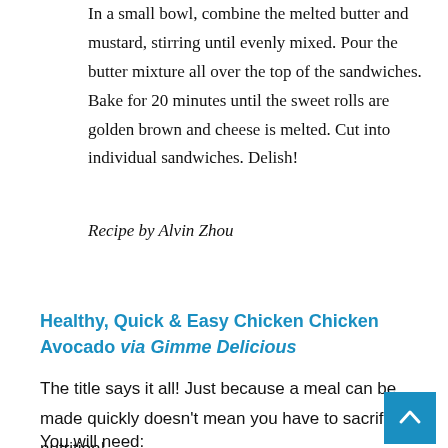In a small bowl, combine the melted butter and mustard, stirring until evenly mixed. Pour the butter mixture all over the top of the sandwiches. Bake for 20 minutes until the sweet rolls are golden brown and cheese is melted. Cut into individual sandwiches. Delish!
Recipe by Alvin Zhou
Healthy, Quick & Easy Chicken Chicken Avocado via Gimme Delicious
The title says it all! Just because a meal can be made quickly doesn't mean you have to sacrifice nutrition!
You will need: